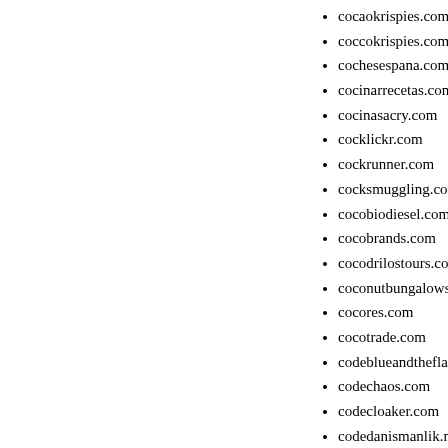cocaokrispies.com
coccokrispies.com
cochesespana.com
cocinarrecetas.com
cocinasacry.com
cocklickr.com
cockrunner.com
cocksmuggling.com
cocobiodiesel.com
cocobrands.com
cocodrilostours.com
coconutbungalows.com
cocores.com
cocotrade.com
codeblueandtheflatliners.com
codechaos.com
codecloaker.com
codedanismanlik.net
codedot.net
codesso.com
coding4.net
codyelectronics.com
codyhall.com
codyscleaning.com
coevrons.com
coffee-brak-games.com
coffee-india.com
coffee4vitality.com